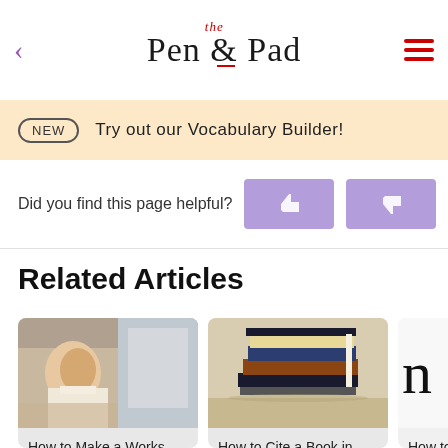Pen & the Pad
NEW  Try out our Vocabulary Builder!
Did you find this page helpful?
Related Articles
How to Make a Works Cited Page in APA Format
How to Cite a Book in APA Format
How to Cite a Paragraph in